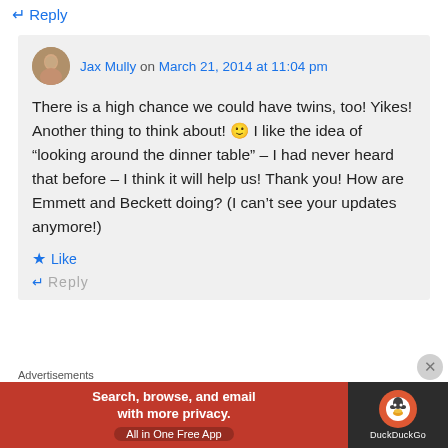↵ Reply
Jax Mully on March 21, 2014 at 11:04 pm
There is a high chance we could have twins, too! Yikes! Another thing to think about! 🙂 I like the idea of “looking around the dinner table” – I had never heard that before – I think it will help us! Thank you! How are Emmett and Beckett doing? (I can’t see your updates anymore!)
★ Like
↵ Reply
Advertisements
[Figure (screenshot): DuckDuckGo advertisement banner: Search, browse, and email with more privacy. All in One Free App]